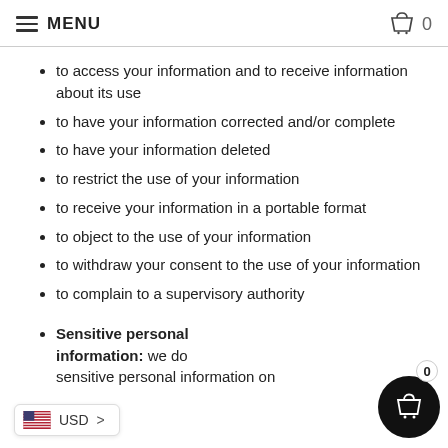MENU   0
to access your information and to receive information about its use
to have your information corrected and/or complete
to have your information deleted
to restrict the use of your information
to receive your information in a portable format
to object to the use of your information
to withdraw your consent to the use of your information
to complain to a supervisory authority
Sensitive personal information: we do sensitive personal information on